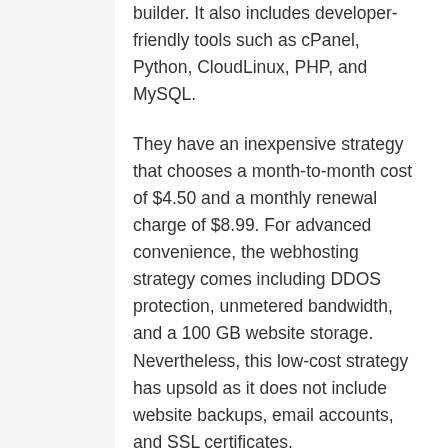builder. It also includes developer-friendly tools such as cPanel, Python, CloudLinux, PHP, and MySQL.
They have an inexpensive strategy that chooses a month-to-month cost of $4.50 and a monthly renewal charge of $8.99. For advanced convenience, the webhosting strategy comes including DDOS protection, unmetered bandwidth, and a 100 GB website storage. Nevertheless, this low-cost strategy has upsold as it does not include website backups, email accounts, and SSL certificates.
Features
Reliable uptime of 99.97%